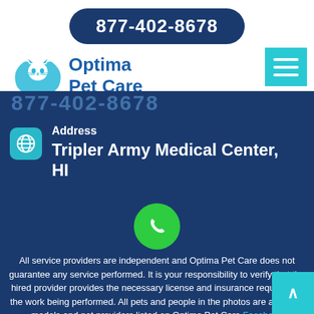877-402-8678
[Figure (logo): Optima Pet Care logo with cat and dog inside blue hands/wings icon]
Optima Pet Care
877-402-8678
Address
Tripler Army Medical Center, HI
All service providers are independent and Optima Pet Care does not guarantee any service performed. It is your responsibility to verify that the hired provider provides the necessary license and insurance required for the work being performed. All pets and people in the photos are actors or models and not providers listed on Optima Pet Care.Facebook